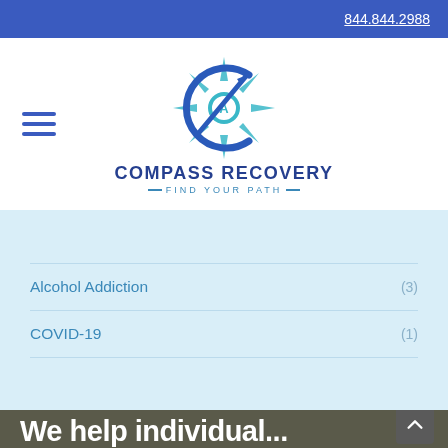844.844.2988
[Figure (logo): Compass Recovery logo with compass rose icon and tagline FIND YOUR PATH]
Alcohol Addiction (3)
COVID-19 (1)
We help individual...